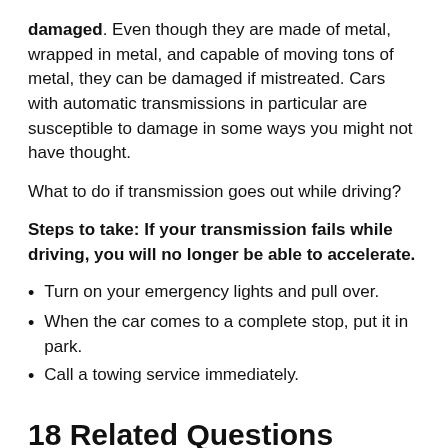damaged. Even though they are made of metal, wrapped in metal, and capable of moving tons of metal, they can be damaged if mistreated. Cars with automatic transmissions in particular are susceptible to damage in some ways you might not have thought.
What to do if transmission goes out while driving?
Steps to take: If your transmission fails while driving, you will no longer be able to accelerate.
Turn on your emergency lights and pull over.
When the car comes to a complete stop, put it in park.
Call a towing service immediately.
18 Related Questions Answered